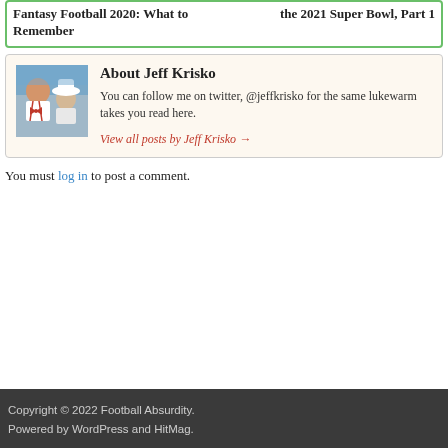Fantasy Football 2020: What to Remember | the 2021 Super Bowl, Part 1
About Jeff Krisko
You can follow me on twitter, @jeffkrisko for the same lukewarm takes you read here.
View all posts by Jeff Krisko →
You must log in to post a comment.
Copyright © 2022 Football Absurdity.
Powered by WordPress and HitMag.